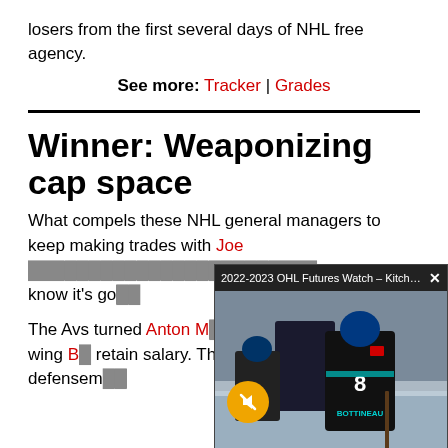losers from the first several days of NHL free agency.
See more: Tracker | Grades
Winner: Weaponizing cap space
What compels these NHL general managers to keep making trades with Joe [obscured] and the Sabres [obscured] when they know it's go[ing to...]
The Avs turned Anton [obscured] Blackhawks left wing B[...] retain salary. They trad[ed...] Islanders for defensem[en...]
[Figure (screenshot): Video overlay showing '2022-2023 OHL Futures Watch - Kitchen...' with a hockey player wearing jersey number 8 (BOTTINEAU) and a mute button icon. Caption bar reads 'ARROW BOTTINEAU' at the bottom.]